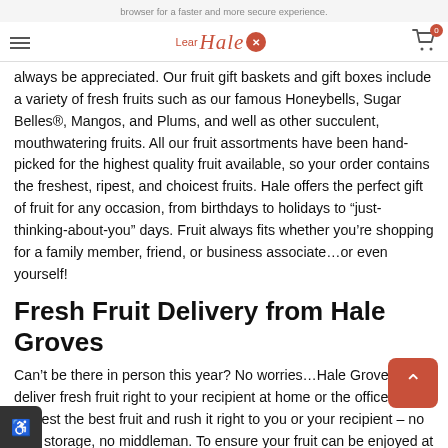browser for a faster and more secure experience. Learn [Hale logo] X
always be appreciated. Our fruit gift baskets and gift boxes include a variety of fresh fruits such as our famous Honeybells, Sugar Belles®, Mangos, and Plums, and well as other succulent, mouthwatering fruits. All our fruit assortments have been hand-picked for the highest quality fruit available, so your order contains the freshest, ripest, and choicest fruits. Hale offers the perfect gift of fruit for any occasion, from birthdays to holidays to “just-thinking-about-you” days. Fruit always fits whether you’re shopping for a family member, friend, or business associate…or even yourself!
Fresh Fruit Delivery from Hale Groves
Can’t be there in person this year? No worries…Hale Groves will deliver fresh fruit right to your recipient at home or the office! We harvest the best fruit and rush it right to you or your recipient – no cold storage, no middleman. To ensure your fruit can be enjoyed at its peak of flavor and freshness, we don’t start picking it until we’ve received your order. That means your fruit is still on the tree when you’re shopping! And if your fruit gifts don’t arrive fresh and perfect, we won’t rest until we’ve made it right. That’s the Hale Difference, and we stand by it. Because of our commitment to sending the best and